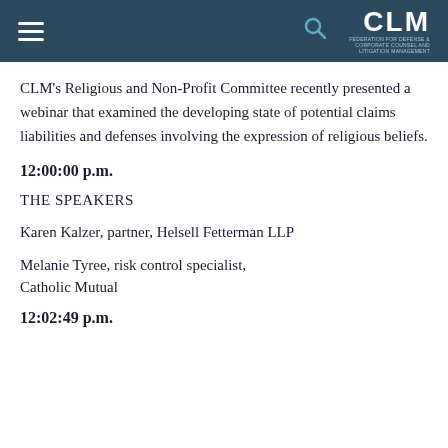CLM [logo with hamburger menu and search icon]
CLM's Religious and Non-Profit Committee recently presented a webinar that examined the developing state of potential claims liabilities and defenses involving the expression of religious beliefs.
12:00:00 p.m.
THE SPEAKERS
Karen Kalzer, partner, Helsell Fetterman LLP
Melanie Tyree, risk control specialist, Catholic Mutual
12:02:49 p.m.